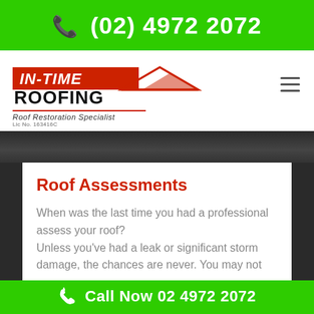(02) 4972 2072
[Figure (logo): In-Time Roofing logo with roof icon, bold ROOFING text, Roof Restoration Specialist tagline, Lic No. 163416C]
[Figure (photo): Close-up photo of a dark roof surface with circular ridge cap tiles visible]
Roof Assessments
When was the last time you had a professional assess your roof?
Unless you've had a leak or significant storm damage, the chances are never. You may not
Call Now 02 4972 2072